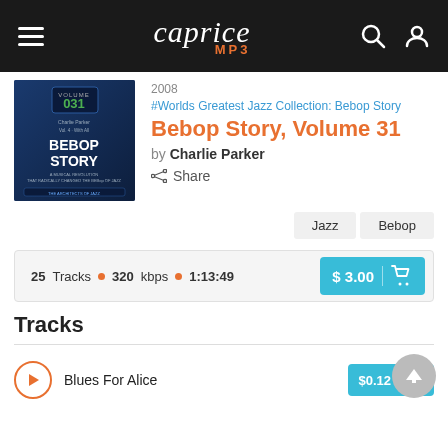caprice MP3
[Figure (photo): Album cover for Bebop Story Volume 031, dark blue background with 'BEBOP STORY' text and volume number 031]
2008
#Worlds Greatest Jazz Collection: Bebop Story
Bebop Story, Volume 31
by Charlie Parker
Share
Jazz
Bebop
25 Tracks • 320 kbps • 1:13:49
$ 3.00
Tracks
Blues For Alice
$0.12